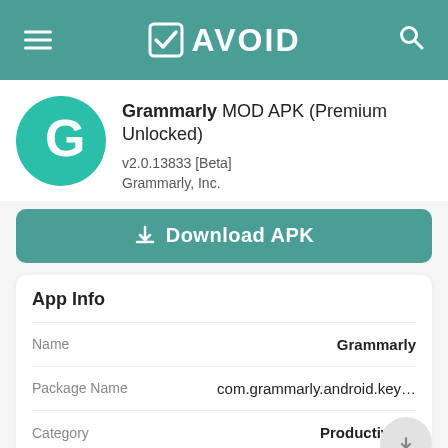AVOID
Grammarly MOD APK (Premium Unlocked)
v2.0.13833 [Beta]
Grammarly, Inc.
⬇ Download APK
App Info
| Field | Value |
| --- | --- |
| Name | Grammarly |
| Package Name | com.grammarly.android.key… |
| Category | Productivity |
| MOD Features | Premium Unlocked |